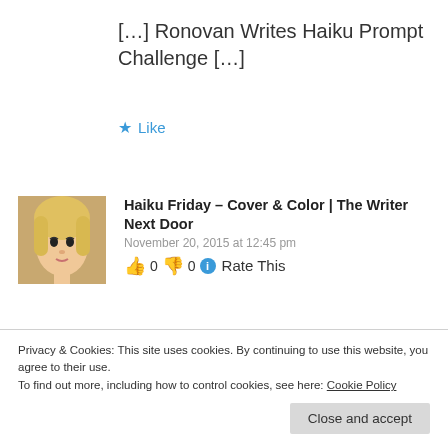[…] Ronovan Writes Haiku Prompt Challenge […]
★ Like
Haiku Friday – Cover & Color | The Writer Next Door
November 20, 2015 at 12:45 pm
👍 0 👎 0 ℹ Rate This
[…] Weekly Haiku Poetry Prompt
Privacy & Cookies: This site uses cookies. By continuing to use this website, you agree to their use.
To find out more, including how to control cookies, see here: Cookie Policy
Close and accept